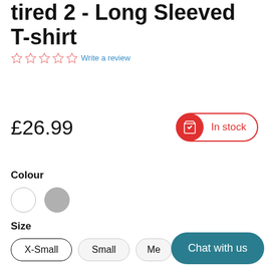tired 2 - Long Sleeved T-shirt
☆☆☆☆☆ Write a review
£26.99
In stock
Colour
[Figure (other): Two colour swatches: white and grey circles]
Size
X-Small  Small  Me[dium]
Chat with us